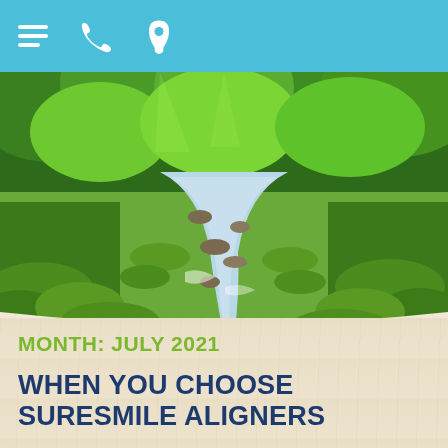Navigation bar with hamburger menu, phone icon, and location pin icon
[Figure (photo): Nature landscape photo of a flowing stream or river with moss-covered rocks, surrounded by lush green forest and trees]
MONTH: JULY 2021
WHEN YOU CHOOSE SURESMILE ALIGNERS